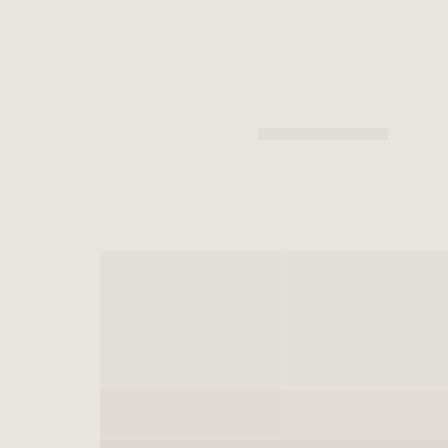[Figure (other): Mostly blank/empty document page with a light warm gray background. Very faint rectangular outlines and subtle tonal variations are visible suggesting a heavily faded or low-contrast scan of a document page. No readable text or distinct graphic content is discernible.]